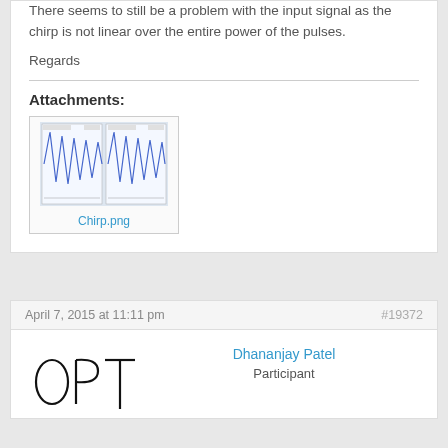There seems to still be a problem with the input signal as the chirp is not linear over the entire power of the pulses.
Regards
Attachments:
[Figure (screenshot): Thumbnail screenshot of Chirp.png showing oscilloscope/signal waveform plots with blue zigzag patterns on two panels]
Chirp.png
April 7, 2015 at 11:11 pm   #19372
[Figure (logo): OPT handwritten-style text logo for user avatar]
Dhananjay Patel
Participant